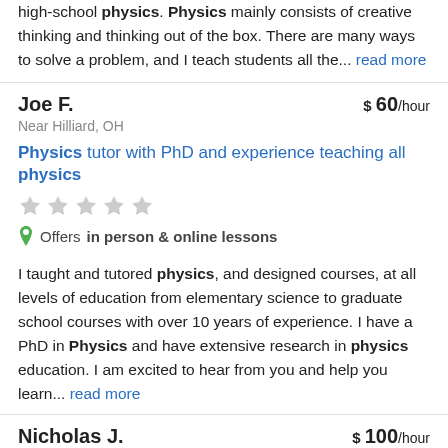high-school physics. Physics mainly consists of creative thinking and thinking out of the box. There are many ways to solve a problem, and I teach students all the… read more
Joe F. | $ 60/hour | Near Hilliard, OH
Physics tutor with PhD and experience teaching all physics
Offers in person & online lessons
I taught and tutored physics, and designed courses, at all levels of education from elementary science to graduate school courses with over 10 years of experience. I have a PhD in Physics and have extensive research in physics education. I am excited to hear from you and help you learn… read more
Nicholas J. | $ 100/hour